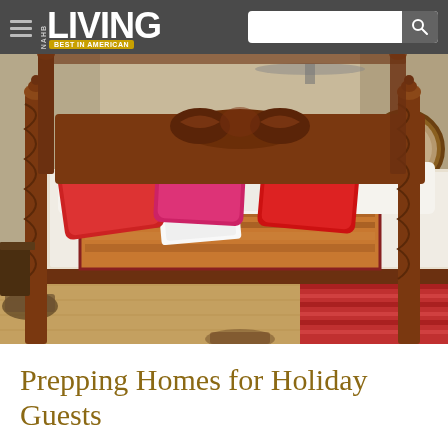NAHB LIVING BEST IN AMERICAN
[Figure (photo): Elegant bedroom with a dark mahogany four-poster canopy bed decorated with red and pink throw pillows on white bedding with a patterned red/orange bedspread. A white folded towel sits on the bed. A lamp on a bedside table glows warmly. A round mirror and leather chair are visible in the background right.]
Prepping Homes for Holiday Guests